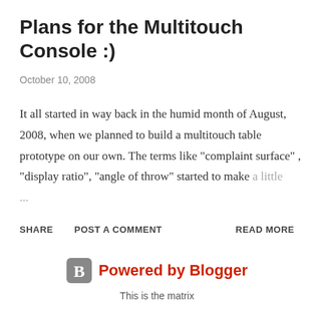Plans for the Multitouch Console :)
October 10, 2008
It all started in way back in the humid month of August, 2008, when we planned to build a multitouch table prototype on our own. The terms like "complaint surface" , "display ratio", "angle of throw" started to make a little ...
SHARE   POST A COMMENT   READ MORE
[Figure (logo): Powered by Blogger logo with orange B icon]
This is the matrix